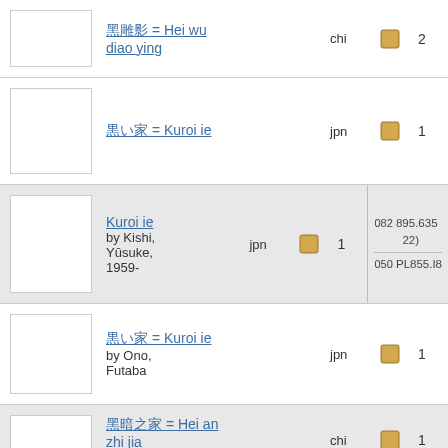| Thumbnail | Title/Author | Language | Format | Count | Call number |
| --- | --- | --- | --- | --- | --- |
|  | 黑雕影 = Hei wu diao ying | chi | [icon] | 2 |  |
|  | 黒い家 = Kuroi ie | jpn | [icon] | 1 |  |
|  | Kuroi ie
by Kishi, Yūsuke, 1959- | jpn | [icon] | 1 | 082 895.635
22)
050 PL855.I8... |
|  | 黒い家 = Kuroi ie
by Ono, Futaba | jpn | [icon] | 1 |  |
|  | 黑暗之家 = Hei an zhi jia
by Gui... | chi | [icon] | 1 |  |